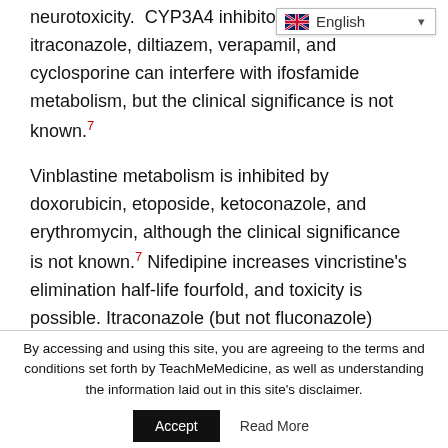neurotoxicity. CYP3A4 inhibitors ketoconazole, itraconazole, diltiazem, verapamil, and cyclosporine can interfere with ifosfamide metabolism, but the clinical significance is not known.⁷
Vinblastine metabolism is inhibited by doxorubicin, etoposide, ketoconazole, and erythromycin, although the clinical significance is not known.⁷ Nifedipine increases vincristine's elimination half-life fourfold, and toxicity is possible. Itraconazole (but not fluconazole)
By accessing and using this site, you are agreeing to the terms and conditions set forth by TeachMeMedicine, as well as understanding the information laid out in this site's disclaimer.